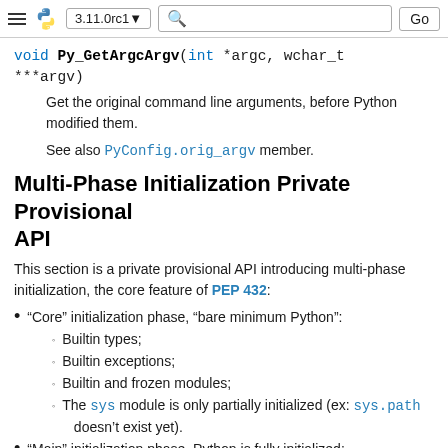3.11.0rc1  [search] Go
Get the original command line arguments, before Python modified them.
See also PyConfig.orig_argv member.
Multi-Phase Initialization Private Provisional API
This section is a private provisional API introducing multi-phase initialization, the core feature of PEP 432:
“Core” initialization phase, “bare minimum Python”:
Builtin types;
Builtin exceptions;
Builtin and frozen modules;
The sys module is only partially initialized (ex: sys.path doesn’t exist yet).
“Main” initialization phase, Python is fully initialized:
Install and configure importlib;